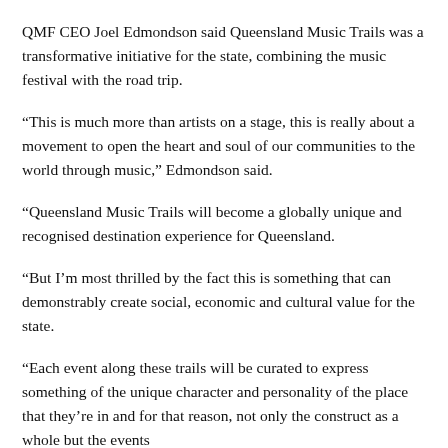QMF CEO Joel Edmondson said Queensland Music Trails was a transformative initiative for the state, combining the music festival with the road trip.
“This is much more than artists on a stage, this is really about a movement to open the heart and soul of our communities to the world through music,” Edmondson said.
“Queensland Music Trails will become a globally unique and recognised destination experience for Queensland.
“But I’m most thrilled by the fact this is something that can demonstrably create social, economic and cultural value for the state.
“Each event along these trails will be curated to express something of the unique character and personality of the place that they’re in and for that reason, not only the construct as a whole but the events